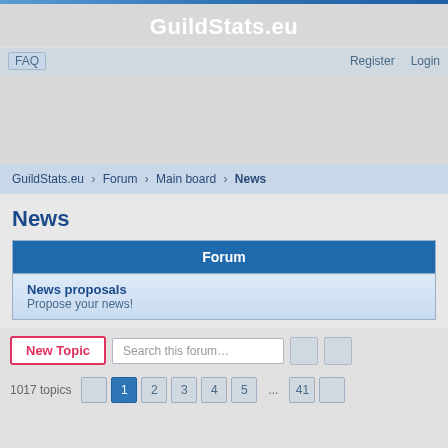GuildStats.eu
FAQ  Register  Login
GuildStats.eu › Forum › Main board › News
News
| Forum |
| --- |
| News proposals
Propose your news! |
New Topic  Search this forum…
1017 topics  1  2  3  4  5  ...  41